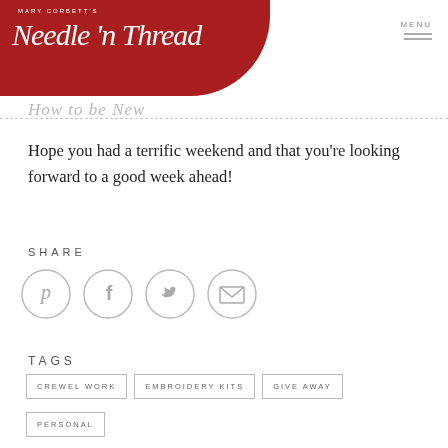Mary Corbett's Needle 'n Thread — MENU
How to be New
Hope you had a terrific weekend and that you're looking forward to a good week ahead!
SHARE
[Figure (infographic): Four circular social share icons: Pinterest, Facebook, Twitter, Email]
TAGS
CREWEL WORK
EMBROIDERY KITS
GIVE AWAY
PERSONAL